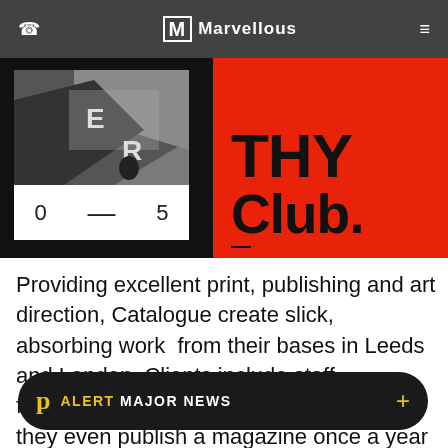Marvellous
[Figure (photo): Hero section with two panels: left panel shows a black and white photograph with a white card overlay showing '0 — 5', right panel shows a red background with bold black text 'THY Club.']
Providing excellent print, publishing and art direction, Catalogue create slick, absorbing work  from their bases in Leeds and London. Clients include staff favourites, the Belgrave Music Hall, and they even publish a magazine once a year in the form of the Library paper.
ALERT MAJOR NEWS